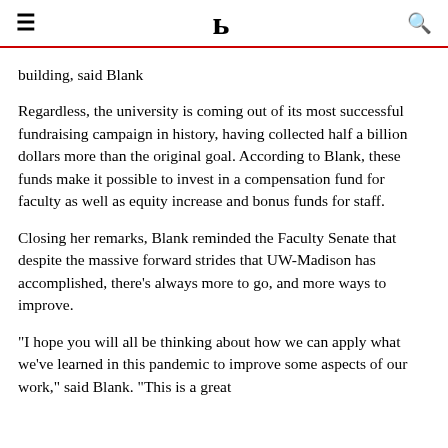DC
building, said Blank
Regardless, the university is coming out of its most successful fundraising campaign in history, having collected half a billion dollars more than the original goal. According to Blank, these funds make it possible to invest in a compensation fund for faculty as well as equity increase and bonus funds for staff.
Closing her remarks, Blank reminded the Faculty Senate that despite the massive forward strides that UW-Madison has accomplished, there's always more to go, and more ways to improve.
"I hope you will all be thinking about how we can apply what we've learned in this pandemic to improve some aspects of our work," said Blank. "This is a great